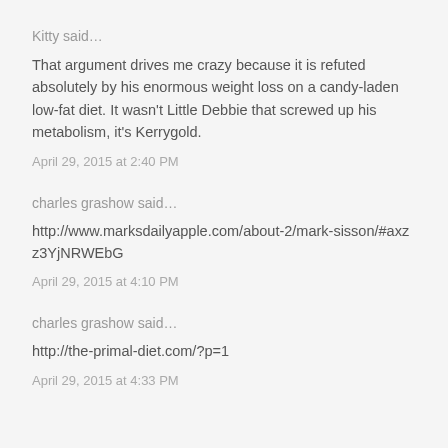Kitty said…
That argument drives me crazy because it is refuted absolutely by his enormous weight loss on a candy-laden low-fat diet. It wasn't Little Debbie that screwed up his metabolism, it's Kerrygold.
April 29, 2015 at 2:40 PM
charles grashow said…
http://www.marksdailyapple.com/about-2/mark-sisson/#axzz3YjNRWEbG
April 29, 2015 at 4:10 PM
charles grashow said…
http://the-primal-diet.com/?p=1
April 29, 2015 at 4:33 PM